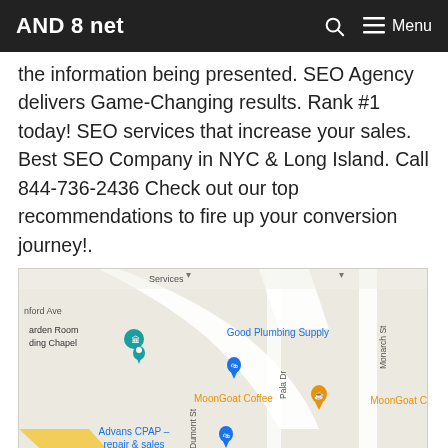AND 8 net
the information being presented. SEO Agency delivers Game-Changing results. Rank #1 today! SEO services that increase your sales. Best SEO Company in NYC & Long Island. Call 844-736-2436 Check out our top recommendations to fire up your conversion journey!.
[Figure (map): Google Maps screenshot showing streets including Dumont St, Pala Dr, Monarch St, with locations: Good Plumbing Supply, MoonGoat Coffee, Advans CPAP - repair & sales, American Tire Depot, and a building labeled arden Room ding Chapel]